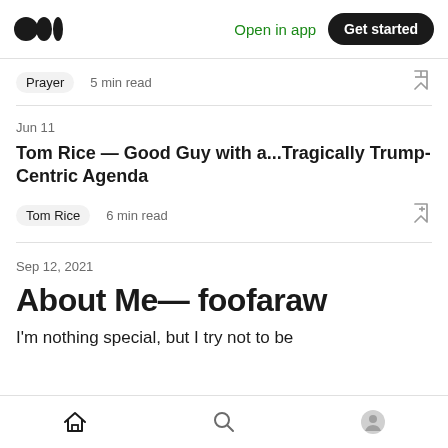Medium logo | Open in app | Get started
Prayer  5 min read
Jun 11
Tom Rice — Good Guy with a...Tragically Trump-Centric Agenda
Tom Rice  6 min read
Sep 12, 2021
About Me— foofaraw
I'm nothing special, but I try not to be
Home | Search | Profile